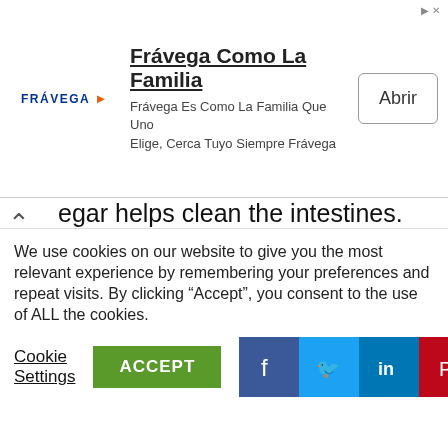[Figure (screenshot): Frávega advertisement banner with logo, tagline 'Frávega Como La Familia', subtext 'Frávega Es Como La Familia Que Uno Elige, Cerca Tuyo Siempre Frávega', and an 'Abrir' button.]
egar helps clean the intestines. Once cooked, strain and set aside. While letting the isaw cool, start preparing the batter.
To make the batter, combine the flour, salt, pepper, water, and egg in a bowl. Mix well until all the ingredients come together to form a batter. Start dipping your chicken intestines into
We use cookies on our website to give you the most relevant experience by remembering your preferences and repeat visits. By clicking “Accept”, you consent to the use of ALL the cookies.
Cookie Settings
ACCEPT